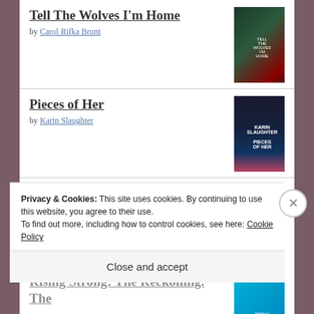Tell The Wolves I'm Home by Carol Rifka Brunt
Pieces of Her by Karin Slaughter
Obviously Awesome: How to Nail Product Positioning so Customers Get It, Buy It, Love It by April Dunford
Rising Strong: The Reckoning. The...
Privacy & Cookies: This site uses cookies. By continuing to use this website, you agree to their use.
To find out more, including how to control cookies, see here: Cookie Policy
Close and accept